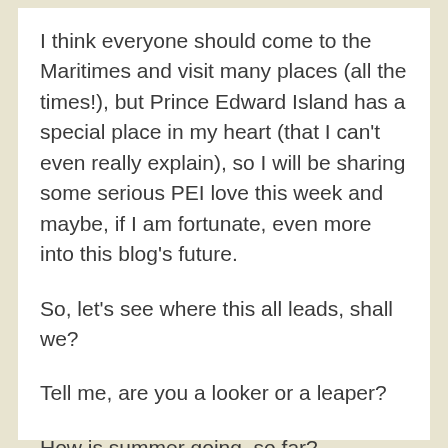I think everyone should come to the Maritimes and visit many places (all the times!), but Prince Edward Island has a special place in my heart (that I can't even really explain), so I will be sharing some serious PEI love this week and maybe, if I am fortunate, even more into this blog's future.
So, let's see where this all leads, shall we?
Tell me, are you a looker or a leaper?
How is summer going, so far?
Are you hot or cold?